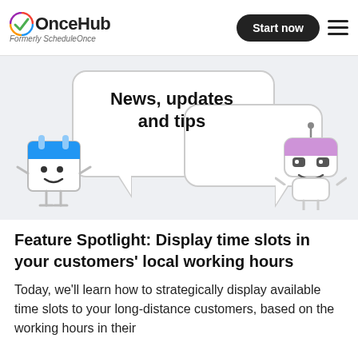[Figure (logo): OnceHub logo with colorful checkmark icon and text 'OnceHub', subtitle 'Formerly ScheduleOnce']
[Figure (illustration): Banner with two cartoon characters (a calendar mascot on the left and a robot mascot on the right) with two speech bubbles. The left speech bubble contains the text 'News, updates and tips'.]
Feature Spotlight: Display time slots in your customers' local working hours
Today, we'll learn how to strategically display available time slots to your long-distance customers, based on the working hours in their